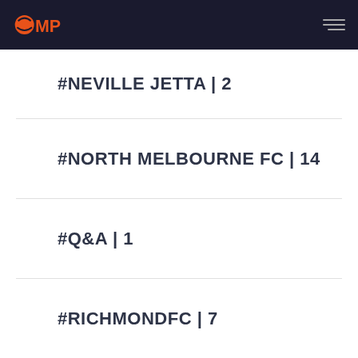OMP
#NEVILLE JETTA | 2
#NORTH MELBOURNE FC | 14
#Q&A | 1
#RICHMONDFC | 7
#SNOW | 16